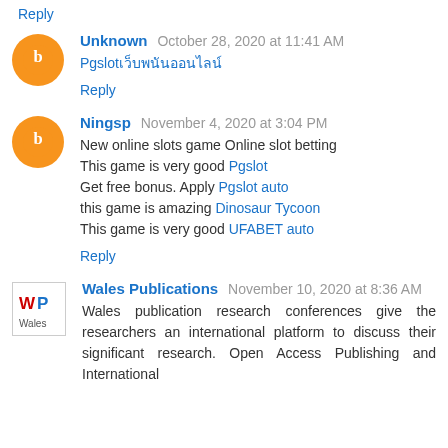Reply
Unknown  October 28, 2020 at 11:41 AM
Pgslot
Reply
Ningsp  November 4, 2020 at 3:04 PM
New online slots game Online slot betting This game is very good Pgslot Get free bonus. Apply Pgslot auto this game is amazing Dinosaur Tycoon This game is very good UFABET auto
Reply
Wales Publications  November 10, 2020 at 8:36 AM
Wales publication research conferences give the researchers an international platform to discuss their significant research. Open Access Publishing and International